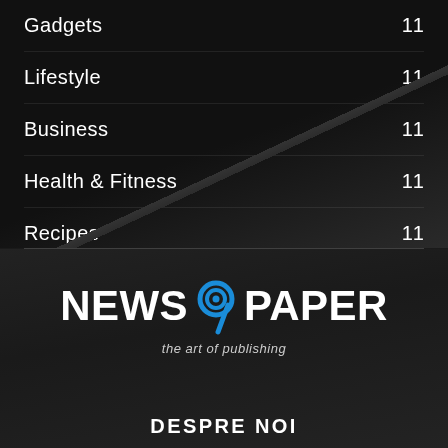Gadgets 11
Lifestyle 11
Business 11
Health & Fitness 11
Recipes 11
New Look 2015 10
[Figure (logo): NEWS 9 PAPER logo with blue spiral 9 icon and tagline 'the art of publishing']
DESPRE NOI